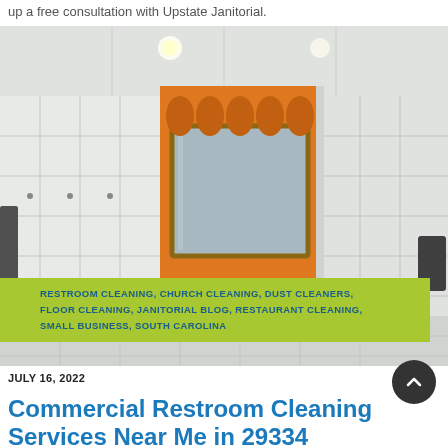up a free consultation with Upstate Janitorial.
[Figure (photo): Commercial bathroom with white tile walls, orange accent wall, large mirror above sinks, and overhead lighting]
RESTROOM CLEANING, CHURCH CLEANING, DUST CLEANERS, FLOOR CLEANING, JANITORIAL BLOG, RESTAURANT CLEANING, SMALL BUSINESS, SOUTH CAROLINA
JULY 16, 2022
Commercial Restroom Cleaning Services Near Me in 29334